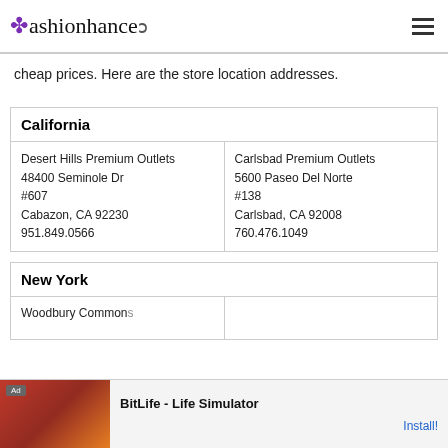Fashionhance
cheap prices. Here are the store location addresses.
| California |  |
| --- | --- |
| Desert Hills Premium Outlets
48400 Seminole Dr #607
Cabazon, CA 92230
951.849.0566 | Carlsbad Premium Outlets
5600 Paseo Del Norte #138
Carlsbad, CA 92008
760.476.1049 |
| New York |  |
| --- | --- |
| Woodbury Commons |  |